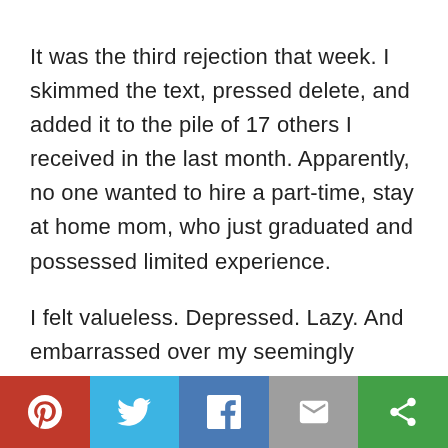It was the third rejection that week. I skimmed the text, pressed delete, and added it to the pile of 17 others I received in the last month. Apparently, no one wanted to hire a part-time, stay at home mom, who just graduated and possessed limited experience.

I felt valueless. Depressed. Lazy. And embarrassed over my seemingly purposeless life.
Social sharing bar: Pinterest, Twitter, Facebook, Email, More